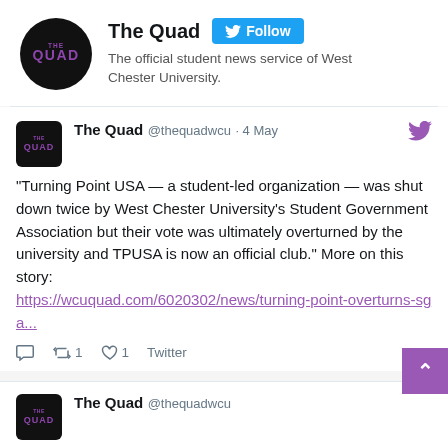[Figure (logo): The Quad circular logo on black background with purple text]
The Quad
The official student news service of West Chester University.
[Figure (logo): The Quad square logo on black background]
The Quad @thequadwcu · 4 May
"Turning Point USA — a student-led organization — was shut down twice by West Chester University's Student Government Association but their vote was ultimately overturned by the university and TPUSA is now an official club." More on this story: https://wcuquad.com/6020302/news/turning-point-overturns-sga...
1  1  Twitter
[Figure (logo): The Quad square logo at bottom, partially visible]